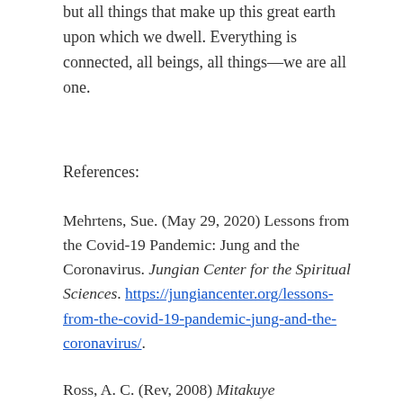but all things that make up this great earth upon which we dwell. Everything is connected, all beings, all things—we are all one.
References:
Mehrtens, Sue. (May 29, 2020) Lessons from the Covid-19 Pandemic: Jung and the Coronavirus. Jungian Center for the Spiritual Sciences. https://jungiancenter.org/lessons-from-the-covid-19-pandemic-jung-and-the-coronavirus/.
Ross, A. C. (Rev, 2008) Mitakuye